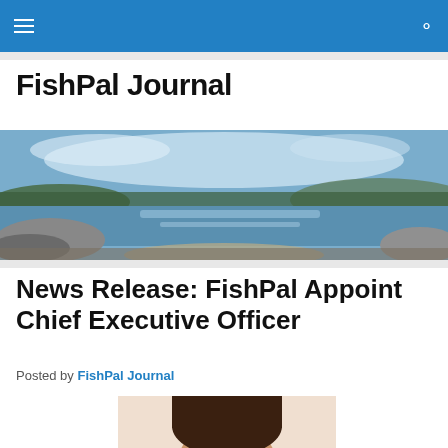FishPal Journal — navigation bar with hamburger menu and search icon
FishPal Journal
[Figure (photo): Panoramic landscape photo of a river with rocky banks, calm water reflecting the sky, trees and hills in the background under a partly cloudy sky]
News Release: FishPal Appoint Chief Executive Officer
Posted by FishPal Journal
[Figure (photo): Partial portrait photo of a person, showing the top of their head with dark hair, cut off at the bottom of the page]